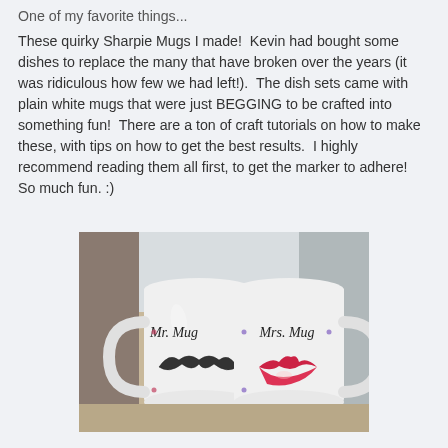One of my favorite things...
These quirky Sharpie Mugs I made!  Kevin had bought some dishes to replace the many that have broken over the years (it was ridiculous how few we had left!).  The dish sets came with plain white mugs that were just BEGGING to be crafted into something fun!  There are a ton of craft tutorials on how to make these, with tips on how to get the best results.  I highly recommend reading them all first, to get the marker to adhere!  So much fun. :)
[Figure (photo): Two white ceramic mugs side by side. The left mug reads 'Mr. Mug' with a drawn mustache below the text. The right mug reads 'Mrs. Mug' with drawn red lips below the text. Both mugs have small polka dots. Photo taken on a kitchen counter.]